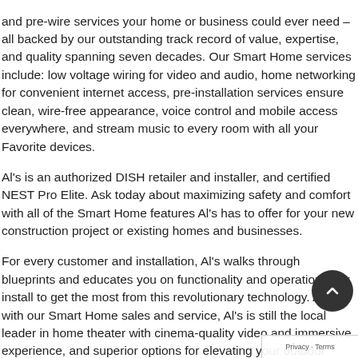and pre-wire services your home or business could ever need – all backed by our outstanding track record of value, expertise, and quality spanning seven decades. Our Smart Home services include: low voltage wiring for video and audio, home networking for convenient internet access, pre-installation services ensure clean, wire-free appearance, voice control and mobile access everywhere, and stream music to every room with all your Favorite devices.
Al's is an authorized DISH retailer and installer, and certified NEST Pro Elite. Ask today about maximizing safety and comfort with all of the Smart Home features Al's has to offer for your new construction project or existing homes and businesses.
For every customer and installation, Al's walks through blueprints and educates you on functionality and operation after install to get the most from this revolutionary technology. Along with our Smart Home sales and service, Al's is still the local leader in home theater with cinema-quality video and immersive experience, and superior options for elevating your outdoor living